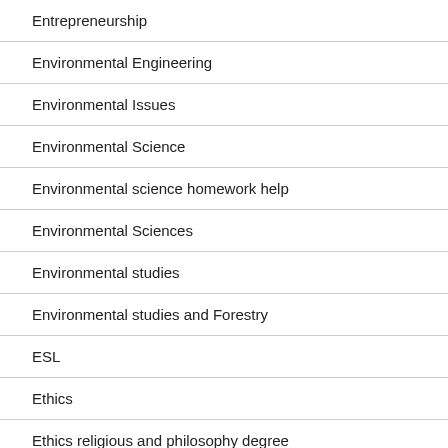Entrepreneurship
Environmental Engineering
Environmental Issues
Environmental Science
Environmental science homework help
Environmental Sciences
Environmental studies
Environmental studies and Forestry
ESL
Ethics
Ethics religious and philosophy degree